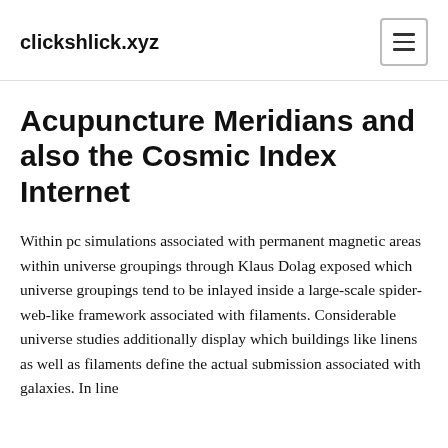clickshlick.xyz
Acupuncture Meridians and also the Cosmic Index Internet
Within pc simulations associated with permanent magnetic areas within universe groupings through Klaus Dolag exposed which universe groupings tend to be inlayed inside a large-scale spider-web-like framework associated with filaments. Considerable universe studies additionally display which buildings like linens as well as filaments define the actual submission associated with galaxies. In line